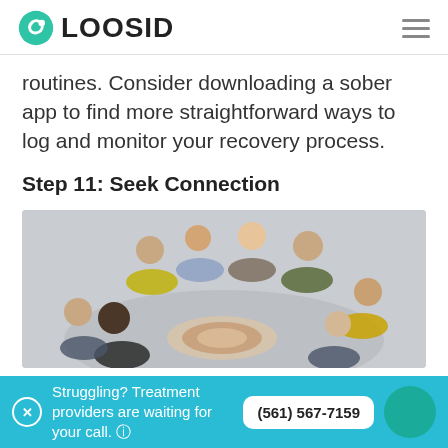LOOSID
routines. Consider downloading a sober app to find more straightforward ways to log and monitor your recovery process.
Step 11: Seek Connection
[Figure (photo): Group of diverse people leaning in a circle with hands together in the center, viewed from above, symbolizing connection and community.]
Struggling? Treatment providers are waiting for your call. (561) 567-7159